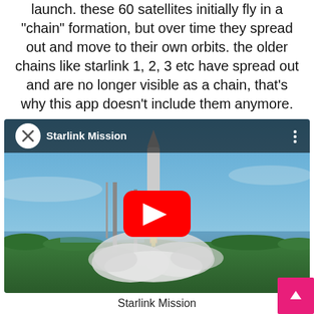launch. these 60 satellites initially fly in a "chain" formation, but over time they spread out and move to their own orbits. the older chains like starlink 1, 2, 3 etc have spread out and are no longer visible as a chain, that's why this app doesn't include them anymore.
[Figure (screenshot): YouTube video thumbnail showing a SpaceX Falcon 9 rocket launching with the title 'Starlink Mission' in the top bar and a YouTube play button overlay]
Starlink Mission